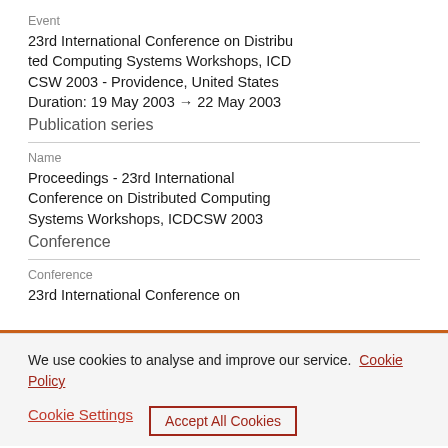Event
23rd International Conference on Distributed Computing Systems Workshops, ICDCSW 2003 - Providence, United States
Duration: 19 May 2003 → 22 May 2003
Publication series
Name
Proceedings - 23rd International Conference on Distributed Computing Systems Workshops, ICDCSW 2003
Conference
Conference
23rd International Conference on
We use cookies to analyse and improve our service. Cookie Policy
Cookie Settings    Accept All Cookies